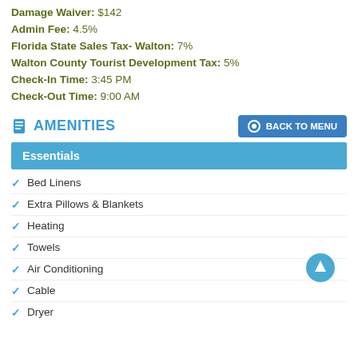Damage Waiver: $142
Admin Fee: 4.5%
Florida State Sales Tax- Walton: 7%
Walton County Tourist Development Tax: 5%
Check-In Time: 3:45 PM
Check-Out Time: 9:00 AM
AMENITIES
Essentials
Bed Linens
Extra Pillows & Blankets
Heating
Towels
Air Conditioning
Cable
Dryer